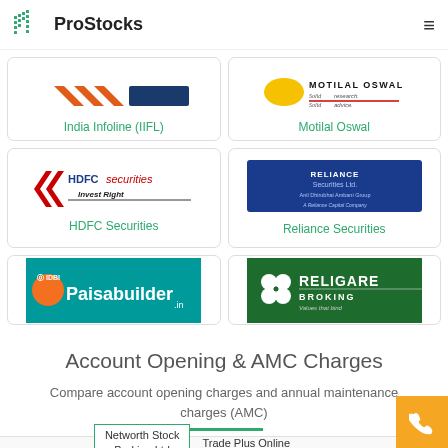ProStocks
[Figure (logo): India Infoline (IIFL) broker logo card - partially visible at top]
[Figure (logo): Motilal Oswal broker logo card - Solid research. Solid advice.]
[Figure (logo): HDFC Securities - Invest Right broker logo card]
[Figure (logo): Reliance Securities Ltd. - Anil Dhirubhai Ambani Group - A Reliance Capital Company]
[Figure (logo): IDBI Paisabuilder.in broker logo card - partially visible at bottom]
[Figure (logo): Religare Broking - Values that bind logo card - partially visible at bottom]
Account Opening & AMC Charges
Compare account opening charges and annual maintenance charges (AMC)
Networth Stock Broking Ltd
Trade Plus Online